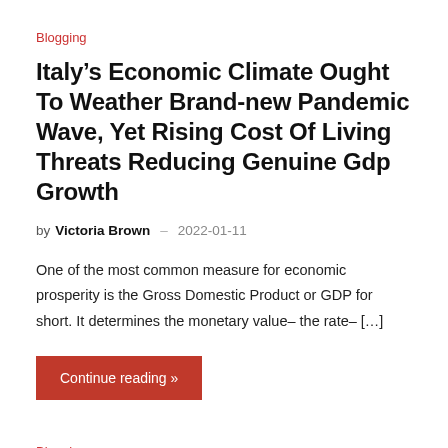Blogging
Italy’s Economic Climate Ought To Weather Brand-new Pandemic Wave, Yet Rising Cost Of Living Threats Reducing Genuine Gdp Growth
by Victoria Brown – 2022-01-11
One of the most common measure for economic prosperity is the Gross Domestic Product or GDP for short. It determines the monetary value– the rate– […]
Continue reading »
Blogging